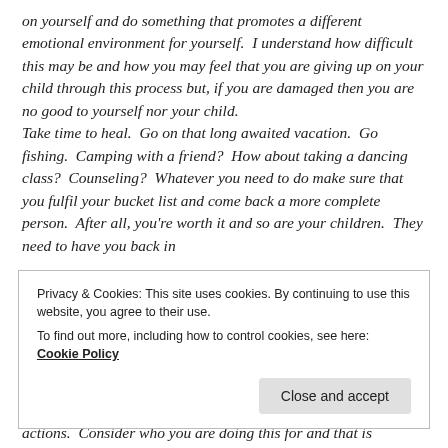on yourself and do something that promotes a different emotional environment for yourself.  I understand how difficult this may be and how you may feel that you are giving up on your child through this process but, if you are damaged then you are no good to yourself nor your child.
Take time to heal.  Go on that long awaited vacation.  Go fishing.  Camping with a friend?  How about taking a dancing class?  Counseling?  Whatever you need to do make sure that you fulfil your bucket list and come back a more complete person.  After all, you're worth it and so are your children.  They need to have you back in
Privacy & Cookies: This site uses cookies. By continuing to use this website, you agree to their use.
To find out more, including how to control cookies, see here:
Cookie Policy
Close and accept
actions.  Consider who you are doing this for and that is